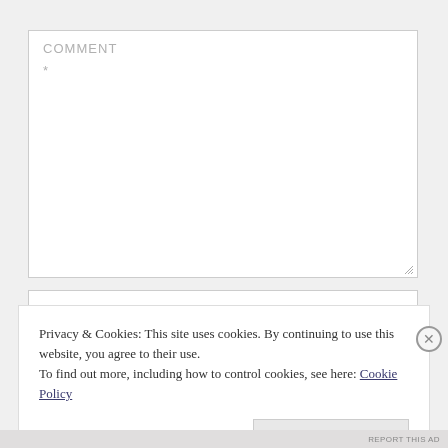COMMENT
*
Privacy & Cookies: This site uses cookies. By continuing to use this website, you agree to their use.
To find out more, including how to control cookies, see here: Cookie Policy
Close and accept
REPORT THIS AD